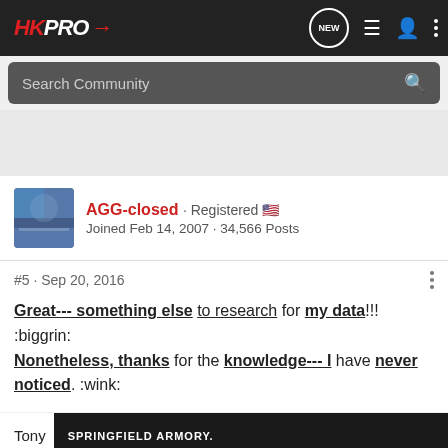HKPRO navigation bar with logo and icons
Search Community
AGG-closed · Registered · Joined Feb 14, 2007 · 34,566 Posts
#5 · Sep 20, 2016
Great--- something else to research for my data!!! :biggrin: Nonetheless, thanks for the knowledge--- I have never noticed. :wink:
Tony
[Figure (advertisement): Springfield Armory advertisement with text SPRINGFIELD ARMORY. UNLOCK GREATNESS]